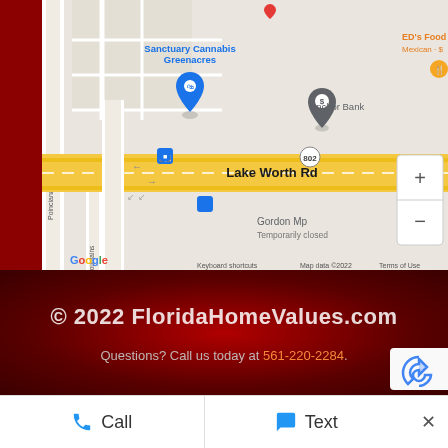[Figure (map): Google Maps screenshot showing the area around Lake Worth Rd in Greenacres, FL. Shows Sanctuary Cannabis Greenacres, ED's Food Store (Mexican·$), Anchor Bank, Gordon Mp (Temporarily closed), Poinciana Dr, Fountains (street), bus stop icons, zoom controls (+/-), and standard Google Maps attribution: Keyboard shortcuts, Map data ©2022, Terms of Use.]
© 2022 FloridaHomeValues.com
Questions? Call us today at 561-220-2284.
Call   Text   ×